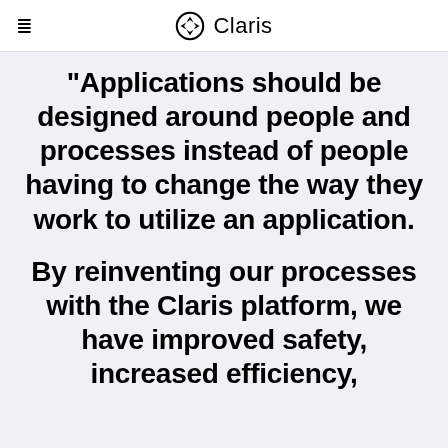Claris
“Applications should be designed around people and processes instead of people having to change the way they work to utilize an application.
By reinventing our processes with the Claris platform, we have improved safety, increased efficiency,